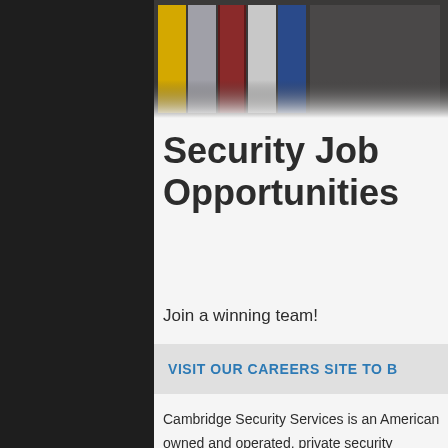[Figure (photo): Photo strip showing military/national flags and a person in formal attire against a dark background]
Security Job Opportunities
Join a winning team!
VISIT OUR CAREERS SITE TO B
Cambridge Security Services is an American owned and operated, private security company that provides armed and unarmed security guard services to clients nationwide across all industries. Our team is carefully recruited and well trained—we